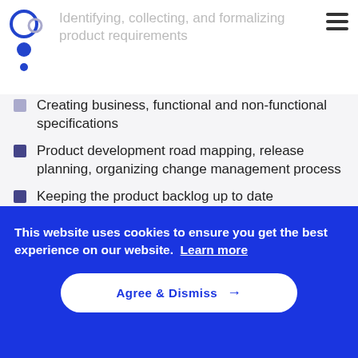Identifying, collecting, and formalizing product requirements
Creating business, functional and non-functional specifications
Product development road mapping, release planning, organizing change management process
Keeping the product backlog up to date
Coordinating work of designers and development team on the implementation of the product
This website uses cookies to ensure you get the best experience on our website. Learn more
Agree & Dismiss →